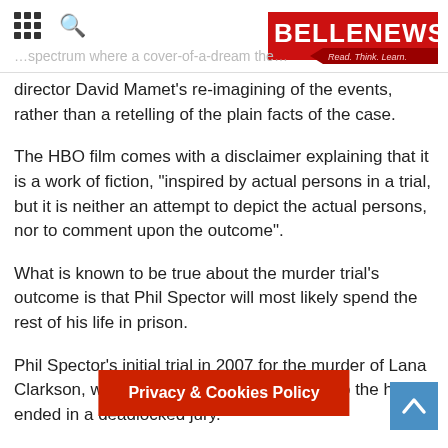BELLE NEWS — Read. Think. Learn.
director David Mamet's re-imagining of the events, rather than a retelling of the plain facts of the case.
The HBO film comes with a disclaimer explaining that it is a work of fiction, "inspired by actual persons in a trial, but it is neither an attempt to depict the actual persons, nor to comment upon the outcome".
What is known to be true about the murder trial's outcome is that Phil Spector will most likely spend the rest of his life in prison.
Phil Spector's initial trial in 2007 for the murder of Lana Clarkson, who died from a gunshot wound to the head, ended in a deadlocked jury.
But a second jury in 2009 found him guilty of second degree murder with a sentence of 19 years hard time.
HBO's Phil Spector is set for rele
Privacy & Cookies Policy